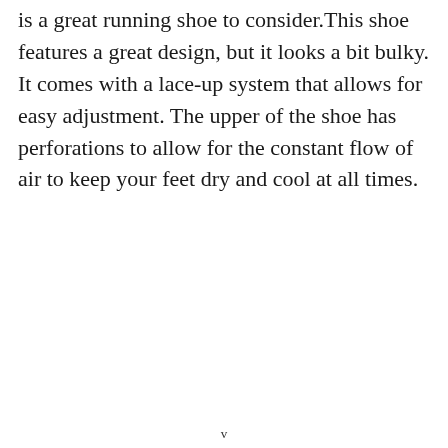is a great running shoe to consider.This shoe features a great design, but it looks a bit bulky. It comes with a lace-up system that allows for easy adjustment. The upper of the shoe has perforations to allow for the constant flow of air to keep your feet dry and cool at all times.
v